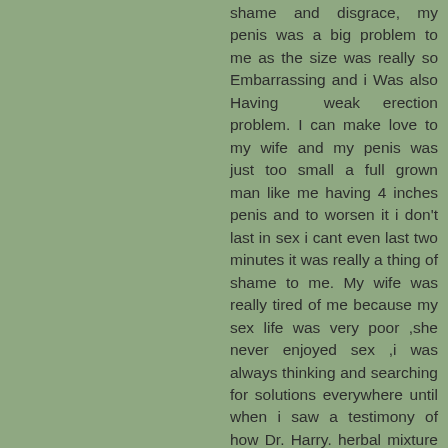shame and disgrace, my penis was a big problem to me as the size was really so Embarrassing and i Was also Having weak erection problem. I can make love to my wife and my penis was just too small a full grown man like me having 4 inches penis and to worsen it i don't last in sex i cant even last two minutes it was really a thing of shame to me. My wife was really tired of me because my sex life was very poor ,she never enjoyed sex ,i was always thinking and searching for solutions everywhere until when i saw a testimony of how Dr. Harry. herbal mixture cream have been helping people regarding their sex life, so i decided to give him a try and visited his website https://drharryherbaltempl.wixsite.com/solutiontemple and to my greatest surprise in less than two weeks of taking the herbs my penis Grow to 8 inches i couldn't believe my eyes and as i Speak now my penis is now 11 inches and i do not have Weak erection again. I can make love to my wife longer in bed. And my marriage is now stable, wife now Enjoy me very well in bed. EX